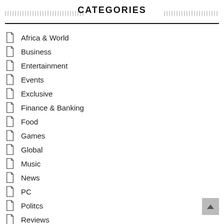CATEGORIES
Africa & World
Business
Entertainment
Events
Exclusive
Finance & Banking
Food
Games
Global
Music
News
PC
Politcs
Reviews
Software